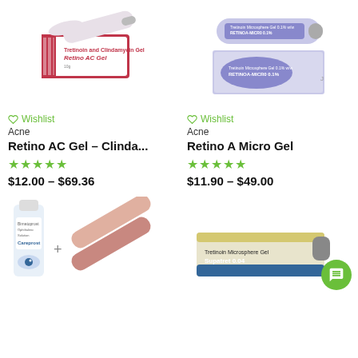[Figure (photo): Retino AC Gel product photo - box and tube of Tretinoin and Clindamycin Gel]
[Figure (photo): Retino A Micro Gel product photo - two tubes of Tretinoin Microsphere Gel 0.1%]
♡ Wishlist
Acne
Retino AC Gel – Clinda...
★★★★★
$12.00 – $69.36
♡ Wishlist
Acne
Retino A Micro Gel
★★★★★
$11.90 – $49.00
[Figure (photo): Careprost eye drop bottle and tube combo product photo]
[Figure (photo): Supatret 0.04 Tretinoin Microsphere Gel tube product photo]